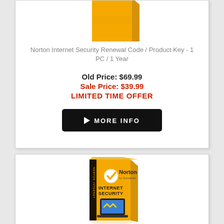[Figure (illustration): Norton Internet Security product box - yellow/orange box, partially visible at top of first card]
Norton Internet Security Renewal Code / Product Key - 1 PC / 1 Year
Old Price: $69.99
Sale Price: $39.99
LIMITED TIME OFFER
MORE INFO
[Figure (illustration): Norton Internet Security product box - yellow box with Norton by Symantec logo, INTERNET SECURITY text, laptop graphic]